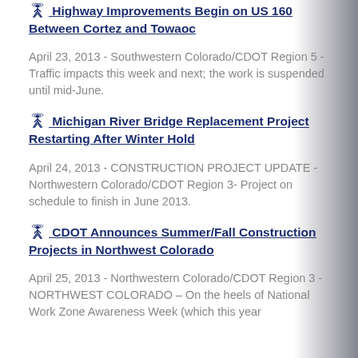Highway Improvements Begin on US 160 Between Cortez and Towaoc
April 23, 2013 - Southwestern Colorado/CDOT Region 5 - Traffic impacts this week and next; the work is suspended until mid-June.
Michigan River Bridge Replacement Project Restarting After Winter Hold
April 24, 2013 - CONSTRUCTION PROJECT UPDATE - Northwestern Colorado/CDOT Region 3- Project on schedule to finish in June 2013.
CDOT Announces Summer/Fall Construction Projects in Northwest Colorado
April 25, 2013 - Northwestern Colorado/CDOT Region 3 - NORTHWEST COLORADO – On the heels of National Work Zone Awareness Week (which this year